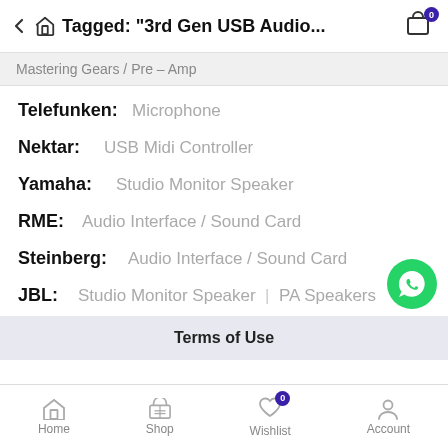Tagged: "3rd Gen USB Audio..."
Mastering Gears / Pre – Amp
Telefunken: Microphone
Nektar: USB Midi Controller
Yamaha: Studio Monitor Speaker
RME: Audio Interface / Sound Card
Steinberg: Audio Interface / Sound Card
JBL: Studio Monitor Speaker | PA Speakers
Terms of Use
Home  Shop  Wishlist  Account